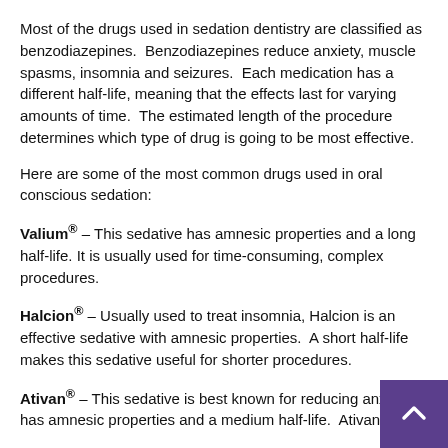Most of the drugs used in sedation dentistry are classified as benzodiazepines. Benzodiazepines reduce anxiety, muscle spasms, insomnia and seizures. Each medication has a different half-life, meaning that the effects last for varying amounts of time. The estimated length of the procedure determines which type of drug is going to be most effective.
Here are some of the most common drugs used in oral conscious sedation:
Valium® – This sedative has amnesic properties and a long half-life. It is usually used for time-consuming, complex procedures.
Halcion® – Usually used to treat insomnia, Halcion is an effective sedative with amnesic properties. A short half-life makes this sedative useful for shorter procedures.
Ativan® – This sedative is best known for reducing anxiety, has amnesic properties and a medium half-life. Ativan is typically used for treatments shorter than those done with Valium.